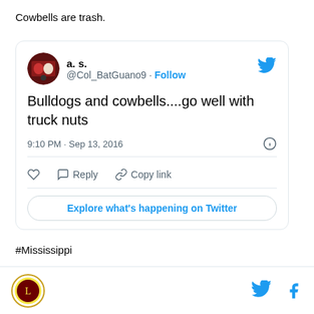Cowbells are trash.
[Figure (screenshot): Embedded tweet from @Col_BatGuano9 (a. s.) saying 'Bulldogs and cowbells....go well with truck nuts', posted at 9:10 PM · Sep 13, 2016, with like, reply, copy link actions and an 'Explore what's happening on Twitter' button.]
#Mississippi
[Figure (logo): Circular logo with gold border bottom footer left]
[Figure (logo): Twitter bird icon and Facebook f icon in footer right]